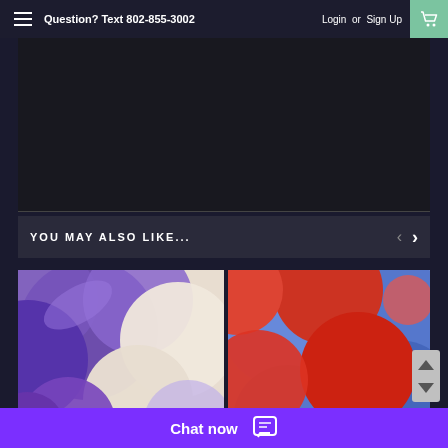Question? Text 802-855-3002   Login or Sign Up
[Figure (other): Dark/black product image area]
YOU MAY ALSO LIKE...
[Figure (photo): Purple and cream/beige overlapping circular disc balloons or decorations]
[Figure (photo): Red and blue overlapping circular disc balloons or decorations]
Chat now